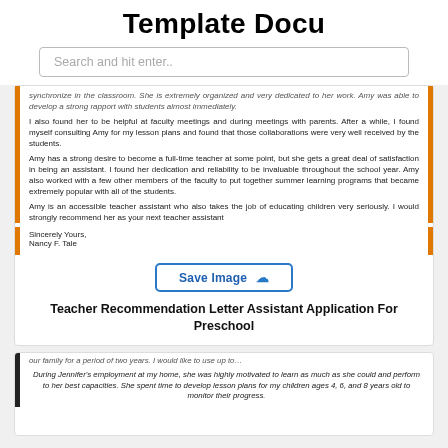Template Docu
Search and hit enter..
synchronize in the classroom. She is extremely organized and very dedicated to her work. Amy was able to develop a strong rapport with students almost immediately.

I also found her to be helpful at faculty meetings and during meetings with parents. After a while, I found myself consulting Amy for my lesson plans and found that those collaborations were very well received by the students.

Amy has a strong desire to become a full-time teacher at some point, but she gets a great deal of satisfaction in being an assistant. I found her dedication and reliability to be invaluable throughout the school year. Amy also worked with a few other members of the faculty to put together summer learning programs that became extremely popular with all of the students.

Amy is an accessible teacher assistant who also takes the job of educating children very seriously. I would strongly recommend her as your next teacher assistant
Sincerely Yours,
Nancy F. Tale
Save Image
Teacher Recommendation Letter Assistant Application For Preschool
our family for a period of two years. I would like to use up to… [excerpt]

During Jennifer's employment at my home, she was highly motivated to learn as much as she could and perform to her best capacities. She spent time to develop lesson plans for my children ages 4, 6, and 8 years old to monitor their progress.